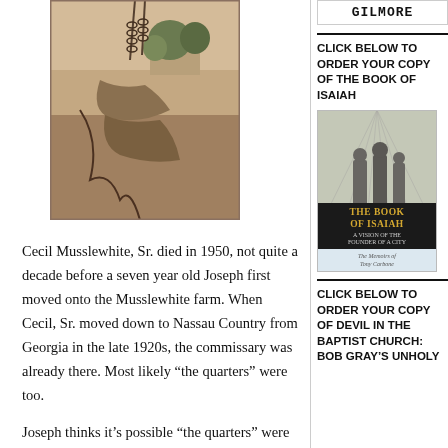[Figure (photo): Black and white/sepia vintage photograph showing a farm scene with chains or hanging objects in the foreground, trees and a building in the background.]
Cecil Musslewhite, Sr. died in 1950, not quite a decade before a seven year old Joseph first moved onto the Musslewhite farm. When Cecil, Sr. moved down to Nassau Country from Georgia in the late 1920s, the commissary was already there. Most likely “the quarters” were too.
Joseph thinks it’s possible “the quarters” were
GILMORE
CLICK BELOW TO ORDER YOUR COPY OF THE BOOK OF ISAIAH
[Figure (illustration): Book cover of 'The Book of Isaiah: A Vision of the Founder of a City' with dark artistic illustration of figures, gold title text on black band, subtitle text below.]
CLICK BELOW TO ORDER YOUR COPY OF DEVIL IN THE BAPTIST CHURCH: BOB GRAY’S UNHOLY